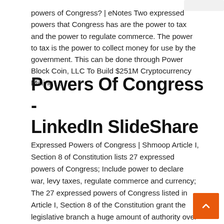powers of Congress? | eNotes Two expressed powers that Congress has are the power to tax and the power to regulate commerce. The power to tax is the power to collect money for use by the government. This can be done through Power Block Coin, LLC To Build $251M Cryptocurrency Mining ...
Powers Of Congress - LinkedIn SlideShare
Expressed Powers of Congress | Shmoop Article I, Section 8 of Constitution lists 27 expressed powers of Congress; Include power to declare war, levy taxes, regulate commerce and currency; The 27 expressed powers of Congress listed in Article I, Section 8 of the Constitution grant the legislative branch a huge amount of authority over American national policy, both foreign and domestic. Borrowing Clause | The Heritage Guide to the Constitution United States (1935), the Court cautioned that the power to borrow money is a power vital to the government, upon which in an extremity its very life may